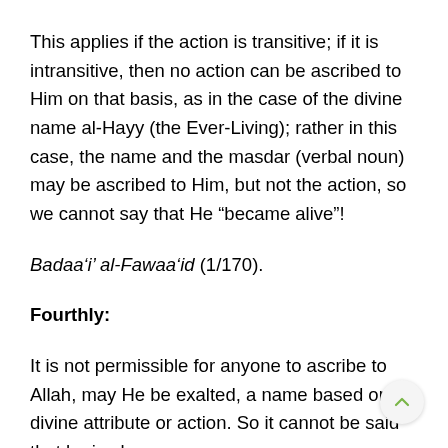This applies if the action is transitive; if it is intransitive, then no action can be ascribed to Him on that basis, as in the case of the divine name al-Hayy (the Ever-Living); rather in this case, the name and the masdar (verbal noun) may be ascribed to Him, but not the action, so we cannot say that He “became alive”!
Badaa‘i’ al-Fawaa‘id (1/170).
Fourthly:
It is not permissible for anyone to ascribe to Allah, may He be exalted, a name based on a divine attribute or action. So it cannot be said that he is al-